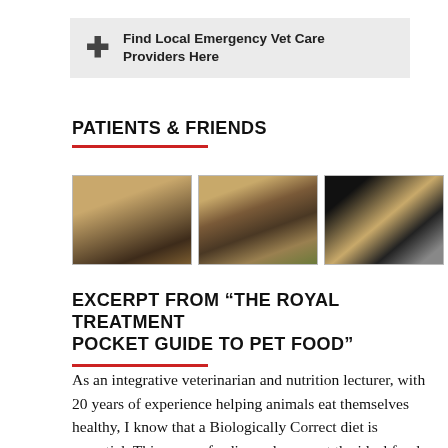[Figure (infographic): Gray banner with bold plus/cross symbol on left and text 'Find Local Emergency Vet Care Providers Here' in bold]
PATIENTS & FRIENDS
[Figure (photo): Three photos side by side: a golden retriever dog, a woman holding a small white dog, and two dogs lying together]
EXCERPT FROM “THE ROYAL TREATMENT POCKET GUIDE TO PET FOOD”
As an integrative veterinarian and nutrition lecturer, with 20 years of experience helping animals eat themselves healthy, I know that a Biologically Correct diet is essential. This means feeding a dog or cat the ideal food for a carnivore. Just because their biology allows